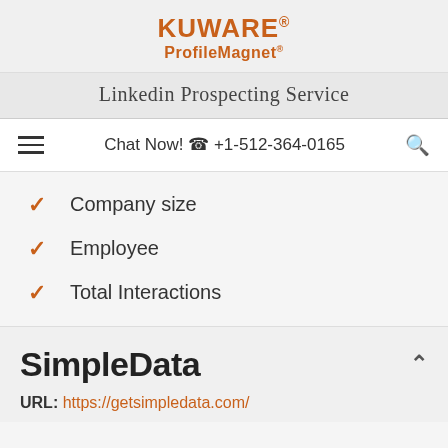KUWARE® ProfileMagnet®
Linkedin Prospecting Service
Chat Now! +1-512-364-0165
Company size
Employee
Total Interactions
SimpleData
URL: https://getsimpledata.com/